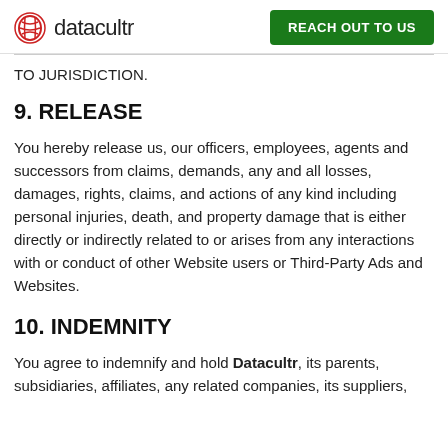datacultr | REACH OUT TO US
TO JURISDICTION.
9. RELEASE
You hereby release us, our officers, employees, agents and successors from claims, demands, any and all losses, damages, rights, claims, and actions of any kind including personal injuries, death, and property damage that is either directly or indirectly related to or arises from any interactions with or conduct of other Website users or Third-Party Ads and Websites.
10. INDEMNITY
You agree to indemnify and hold Datacultr, its parents, subsidiaries, affiliates, any related companies, its suppliers,